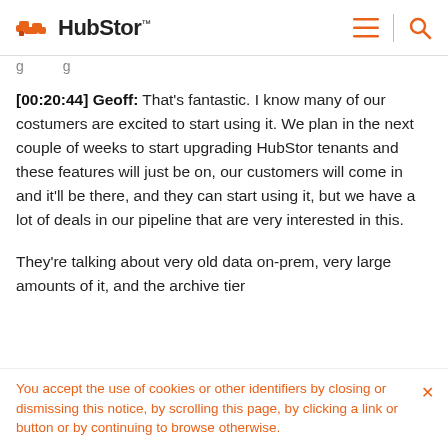HubStor
[00:20:44] Geoff: That's fantastic. I know many of our costumers are excited to start using it. We plan in the next couple of weeks to start upgrading HubStor tenants and these features will just be on, our customers will come in and it'll be there, and they can start using it, but we have a lot of deals in our pipeline that are very interested in this.
They're talking about very old data on-prem, very large amounts of it, and the archive tier
You accept the use of cookies or other identifiers by closing or dismissing this notice, by scrolling this page, by clicking a link or button or by continuing to browse otherwise.